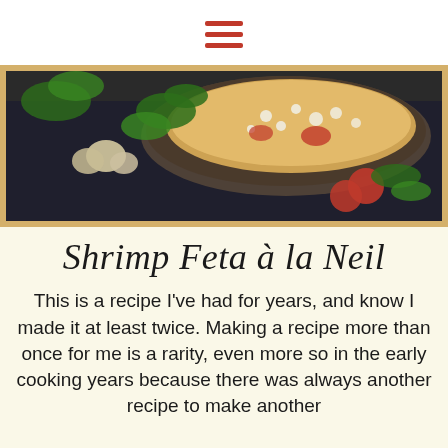[Figure (other): Hamburger menu icon with three red horizontal lines]
[Figure (photo): Overhead shot of a shrimp feta dish in a skillet, surrounded by fresh herbs, garlic, and tomatoes on a dark cloth background]
Shrimp Feta à la Neil
This is a recipe I've had for years, and know I made it at least twice. Making a recipe more than once for me is a rarity, even more so in the early cooking years because there was always another recipe to make another